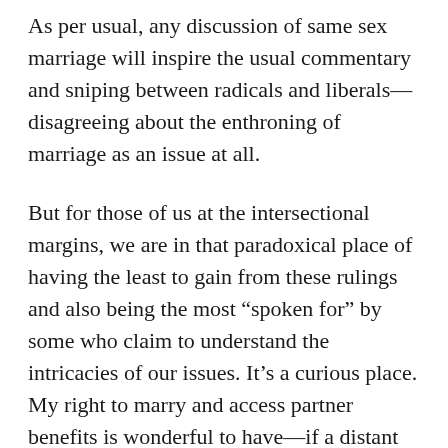As per usual, any discussion of same sex marriage will inspire the usual commentary and sniping between radicals and liberals—disagreeing about the enthroning of marriage as an issue at all.
But for those of us at the intersectional margins, we are in that paradoxical place of having the least to gain from these rulings and also being the most “spoken for” by some who claim to understand the intricacies of our issues. It’s a curious place. My right to marry and access partner benefits is wonderful to have—if a distant one. So much else must come first; I must have benefits to share with my partner, for one, and no law provides that I have a right to such things.
Simultaneously, however, it would be reductive to say—as some of my fellow activists have suggested—that the